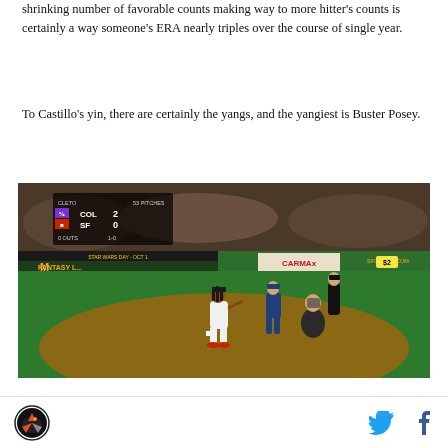shrinking number of favorable counts making way to more hitter's counts is certainly a way someone's ERA nearly triples over the course of single year.
To Castillo's yin, there are certainly the yangs, and the yangiest is Buster Posey.
[Figure (photo): Baseball game at AT&T Park showing a pitcher mid-delivery on the mound with a batter, catcher, and umpire visible. Scoreboard shows COL 2, SF 0, 0 outs, 1-0 count. Star Wars Day Oct 1 banner and McDonald's Fantasy advertisement visible in background. CARMAX and SFGIANTS.COM signage on outfield wall.]
Site logo and social media icons (Twitter, Facebook)